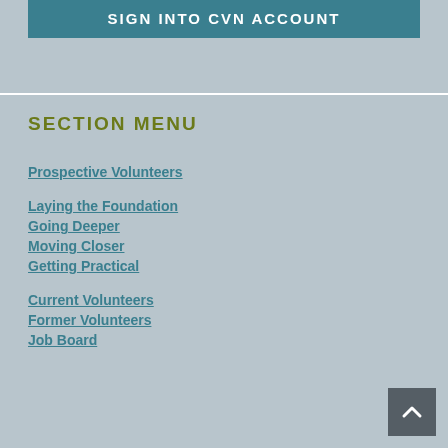SIGN INTO CVN ACCOUNT
SECTION MENU
Prospective Volunteers
Laying the Foundation
Going Deeper
Moving Closer
Getting Practical
Current Volunteers
Former Volunteers
Job Board